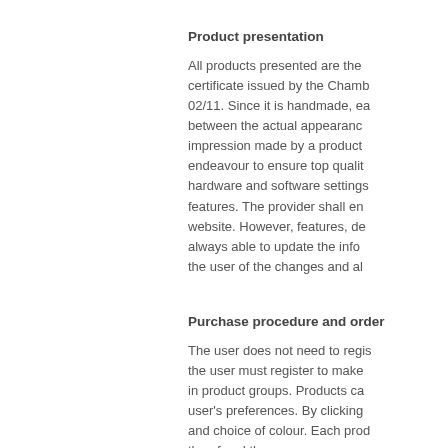Product presentation
All products presented are the certificate issued by the Chamb 02/11. Since it is handmade, ea between the actual appearanc impression made by a product endeavour to ensure top qualit hardware and software settings features. The provider shall en website. However, features, de always able to update the info the user of the changes and al
Purchase procedure and order
The user does not need to regis the user must register to make in product groups. Products ca user's preferences. By clicking and choice of colour. Each prod the of and the